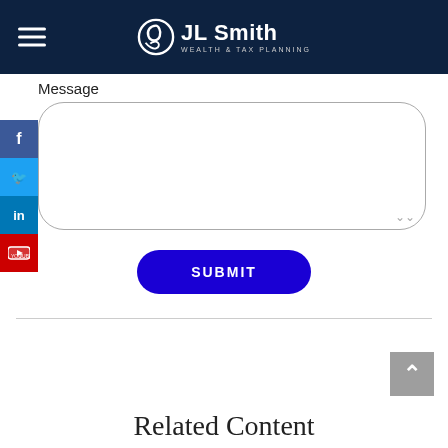[Figure (logo): JL Smith Wealth & Tax Planning logo with navigation hamburger menu on dark navy header]
Message
[Figure (screenshot): Message textarea input box with rounded corners]
[Figure (screenshot): SUBMIT button, dark blue with rounded pill shape]
[Figure (screenshot): Social media sidebar with Facebook, Twitter, LinkedIn, and YouTube icons]
[Figure (screenshot): Back to top button, grey square with up arrow]
Related Content